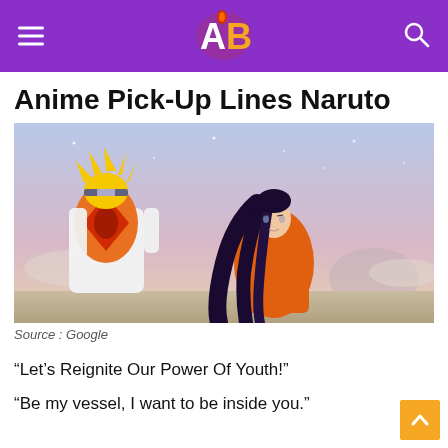AB (logo)
Anime Pick-Up Lines Naruto
[Figure (illustration): Anime illustration of Naruto (back view, blonde hair, orange and white jacket with red symbol) facing Hinata (dark long hair, orange top) against a pastel sky background.]
Source : Google
“Let’s Reignite Our Power Of Youth!”
“Be my vessel, I want to be inside you.”